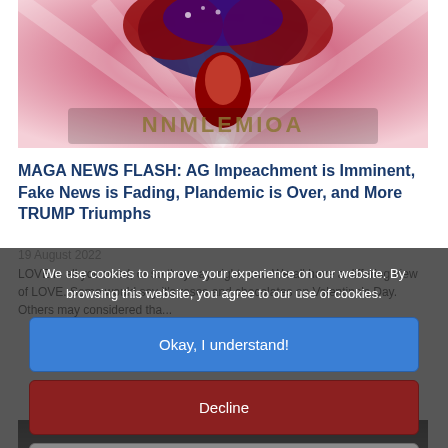[Figure (photo): Decorative patriotic image with red, white, and blue floral/explosion motif and stylized text at the bottom]
MAGA NEWS FLASH: AG Impeachment is Imminent, Fake News is Fading, Plandemic is Over, and More TRUMP Triumphs
19 August 2022
LOVE is all you need, or so they say, right now. We all have a differing view of LOVE. Some would say it's roses and chocolates on Valentine's Day. Others may considered tha...
We use cookies to improve your experience on our website. By browsing this website, you agree to our use of cookies.
Okay, I understand!
Decline
More Info